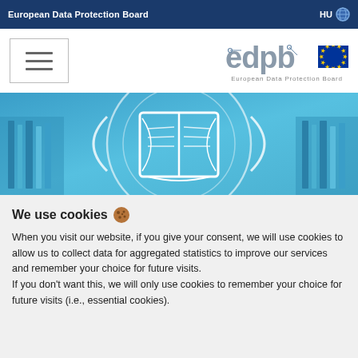European Data Protection Board   HU 🌐
[Figure (logo): Hamburger menu icon in a bordered box on the left; EDPB (edpb) logo with EU stars flag and 'European Data Protection Board' text on the right]
[Figure (illustration): Blue hero banner with a glowing open book icon centered, bookshelves visible in background, circular arc design elements]
We use cookies 🍪
When you visit our website, if you give your consent, we will use cookies to allow us to collect data for aggregated statistics to improve our services and remember your choice for future visits.
If you don't want this, we will only use cookies to remember your choice for future visits (i.e., essential cookies).